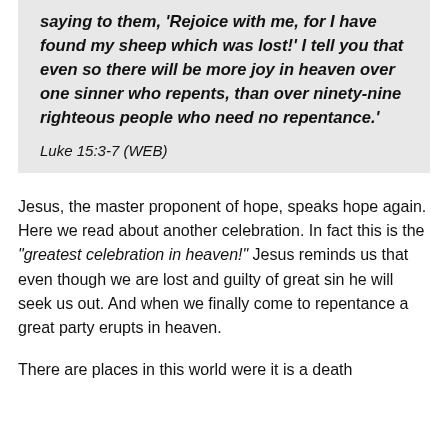saying to them, 'Rejoice with me, for I have found my sheep which was lost!'  I tell you that even so there will be more joy in heaven over one sinner who repents, than over ninety-nine righteous people who need no repentance.'
Luke 15:3-7 (WEB)
Jesus, the master proponent of hope, speaks hope again. Here we read about another celebration. In fact this is the "greatest celebration in heaven!" Jesus reminds us that even though we are lost and guilty of great sin he will seek us out. And when we finally come to repentance a great party erupts in heaven.
There are places in this world were it is a death